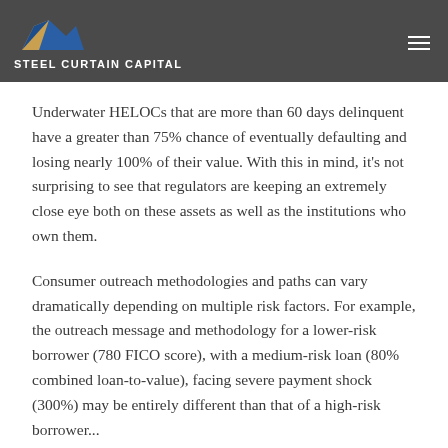STEEL CURTAIN CAPITAL
Underwater HELOCs that are more than 60 days delinquent have a greater than 75% chance of eventually defaulting and losing nearly 100% of their value. With this in mind, it's not surprising to see that regulators are keeping an extremely close eye both on these assets as well as the institutions who own them.
Consumer outreach methodologies and paths can vary dramatically depending on multiple risk factors. For example, the outreach message and methodology for a lower-risk borrower (780 FICO score), with a medium-risk loan (80% combined loan-to-value), facing severe payment shock (300%) may be entirely different than that of a high-risk borrower...